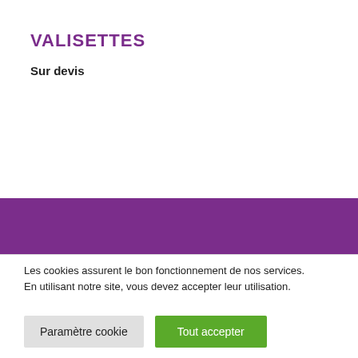VALISETTES
Sur devis
Notre service client à votre
Les cookies assurent le bon fonctionnement de nos services. En utilisant notre site, vous devez accepter leur utilisation.
Paramètre cookie
Tout accepter